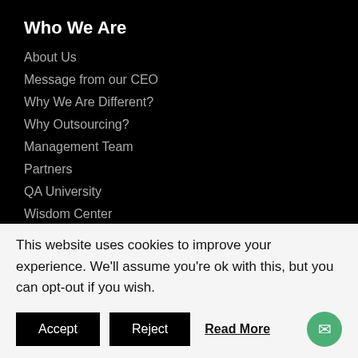Who We Are
About Us
Message from our CEO
Why We Are Different?
Why Outsourcing?
Management Team
Partners
QA University
Wisdom Center
QA Services We Offer
Free Website Verification Testing
This website uses cookies to improve your experience. We'll assume you're ok with this, but you can opt-out if you wish.
Accept
Reject
Read More